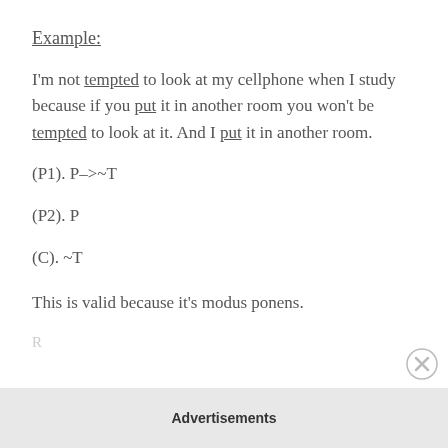Example:
I'm not tempted to look at my cellphone when I study because if you put it in another room you won't be tempted to look at it. And I put it in another room.
This is valid because it's modus ponens.
Advertisements